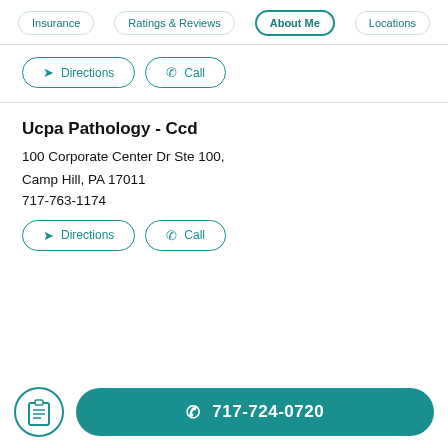Insurance | Ratings & Reviews | About Me | Locations
Directions
Call
Ucpa Pathology - Ccd
100 Corporate Center Dr Ste 100, Camp Hill, PA 17011
717-763-1174
Directions
Call
717-724-0720